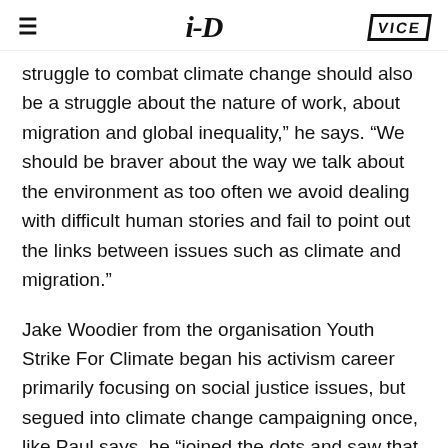i-D  VICE
struggle to combat climate change should also be a struggle about the nature of work, about migration and global inequality,” he says. “We should be braver about the way we talk about the environment as too often we avoid dealing with difficult human stories and fail to point out the links between issues such as climate and migration.”
Jake Woodier from the organisation Youth Strike For Climate began his activism career primarily focusing on social justice issues, but segued into climate change campaigning once, like Paul says, he “joined the dots and saw that it’s all interrelated”. He now campaigns to help build environmental movements across the UK.